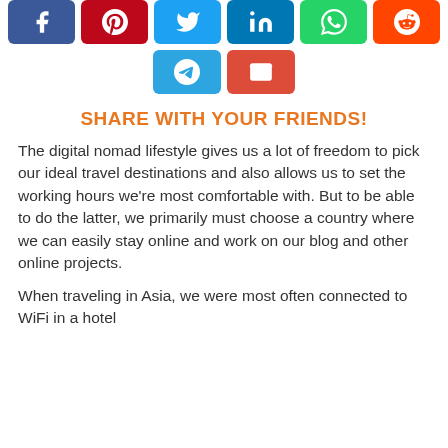[Figure (infographic): Social media share buttons: Facebook (blue), Pinterest (red), Twitter (blue), LinkedIn (blue), WhatsApp (green), Reddit (orange-red) in first row; Telegram (blue), Email (red) in second row]
SHARE WITH YOUR FRIENDS!
The digital nomad lifestyle gives us a lot of freedom to pick our ideal travel destinations and also allows us to set the working hours we're most comfortable with. But to be able to do the latter, we primarily must choose a country where we can easily stay online and work on our blog and other online projects.
When traveling in Asia, we were most often connected to WiFi in a hotel